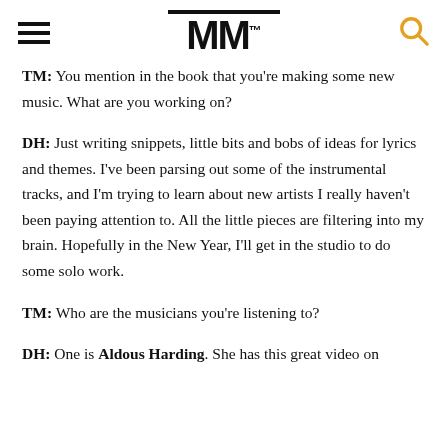MM
TM: You mention in the book that you're making some new music. What are you working on?
DH: Just writing snippets, little bits and bobs of ideas for lyrics and themes. I've been parsing out some of the instrumental tracks, and I'm trying to learn about new artists I really haven't been paying attention to. All the little pieces are filtering into my brain. Hopefully in the New Year, I'll get in the studio to do some solo work.
TM: Who are the musicians you're listening to?
DH: One is Aldous Harding. She has this great video on